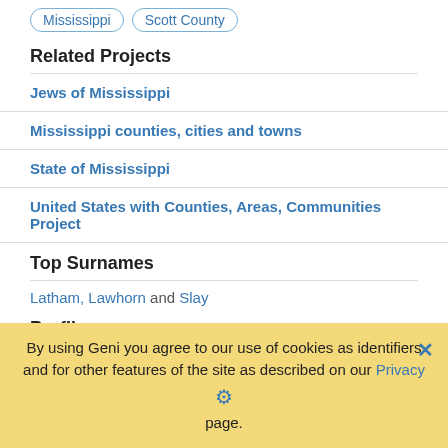Mississippi   Scott County
Related Projects
Jews of Mississippi
Mississippi counties, cities and towns
State of Mississippi
United States with Counties, Areas, Communities Project
Top Surnames
Latham, Lawhorn and Slay
Profiles
Noah Lawhorn (1806 - 1860)
By using Geni you agree to our use of cookies as identifiers and for other features of the site as described on our Privacy page.